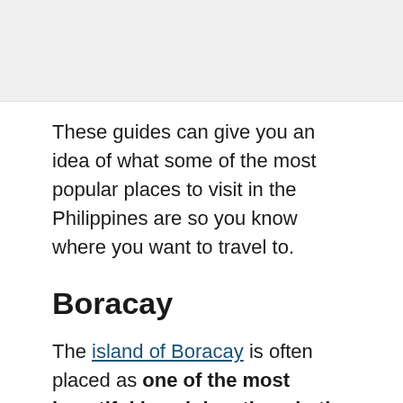[Figure (photo): Top image placeholder area, light grey background]
These guides can give you an idea of what some of the most popular places to visit in the Philippines are so you know where you want to travel to.
Boracay
The island of Boracay is often placed as one of the most beautiful beach locations in the world. It is a popular place not just for visitors, but for vacationing locals as well.
In 2019, the island went through a massive